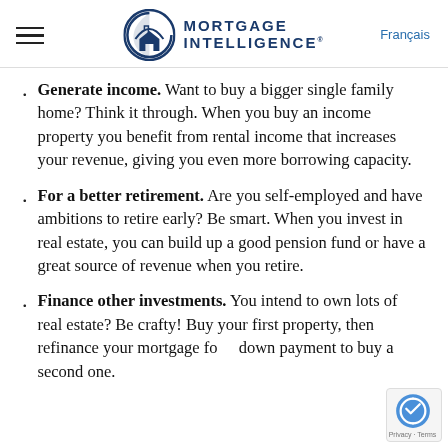Mortgage Intelligence | Français
Generate income. Want to buy a bigger single family home? Think it through. When you buy an income property you benefit from rental income that increases your revenue, giving you even more borrowing capacity.
For a better retirement. Are you self-employed and have ambitions to retire early? Be smart. When you invest in real estate, you can build up a good pension fund or have a great source of revenue when you retire.
Finance other investments. You intend to own lots of real estate? Be crafty! Buy your first property, then refinance your mortgage for a down payment to buy a second one.